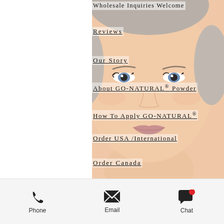[Figure (photo): Close-up portrait of a woman's face with light skin, blue eyes, and styled hair, serving as background for the navigation menu]
Wholesale Inquiries Welcome
Reviews
Our Story
About GO-NATURAL® Powder
How To Apply GO-NATURAL®
Order USA /International
Order Canada
Wholesale
Sales Reps
Real Business Opportunities
Affiliates
Contact Us
Phone  Email  Chat